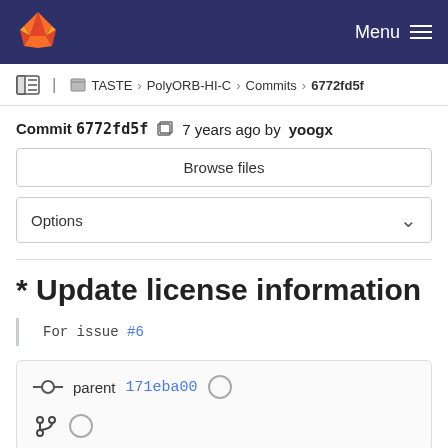GitLab navigation bar with logo and Menu
TASTE › PolyORB-HI-C › Commits › 6772fd5f
Commit 6772fd5f  7 years ago by yoogx
Browse files
Options
* Update license information
For issue #6
parent 171eba00